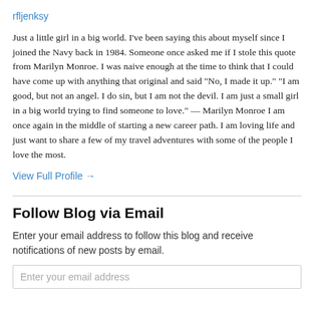rfljenksy
Just a little girl in a big world. I've been saying this about myself since I joined the Navy back in 1984. Someone once asked me if I stole this quote from Marilyn Monroe. I was naive enough at the time to think that I could have come up with anything that original and said "No, I made it up." "I am good, but not an angel. I do sin, but I am not the devil. I am just a small girl in a big world trying to find someone to love." — Marilyn Monroe I am once again in the middle of starting a new career path. I am loving life and just want to share a few of my travel adventures with some of the people I love the most.
View Full Profile →
Follow Blog via Email
Enter your email address to follow this blog and receive notifications of new posts by email.
Enter your email address